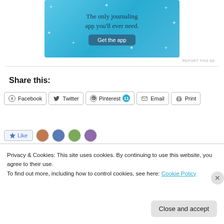[Figure (screenshot): Ad banner with light blue background, text 'The only journaling app you'll ever need.' and a dark blue 'Get the app' button]
REPORT THIS AD
Share this:
[Figure (screenshot): Social share buttons row: Facebook, Twitter, Pinterest (11), Email, Print]
[Figure (screenshot): Like button with star icon and four user avatar images]
Privacy & Cookies: This site uses cookies. By continuing to use this website, you agree to their use.
To find out more, including how to control cookies, see here: Cookie Policy
Close and accept